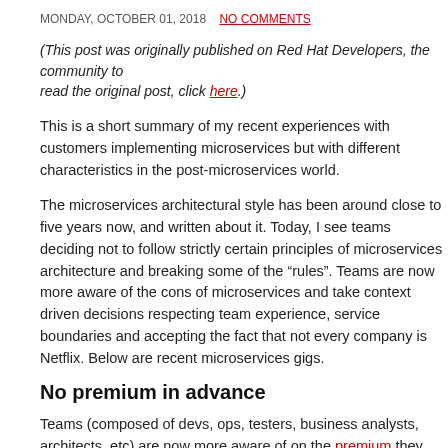MONDAY, OCTOBER 01, 2018   NO COMMENTS
(This post was originally published on Red Hat Developers, the community to read the original post, click here.)
This is a short summary of my recent experiences with customers implementing microservices but with different characteristics in the post-microservices world.
The microservices architectural style has been around close to five years now, and written about it. Today, I see teams deciding not to follow strictly certain principles of microservices architecture and breaking some of the "rules". Teams are now more aware of the cons of microservices and take context driven decisions respecting team experience, service boundaries and accepting the fact that not every company is Netflix. Below are a few from my recent microservices gigs.
No premium in advance
Teams (composed of devs, ops, testers, business analysts, architects, etc) are now more aware of on the premium they have to pay for the privilege of going into pure microservices architecture. A typical Java based microservice running on Kubernetes (the most popular platform) will require: a git repository, maven module, a collection of tests (unit, integration), APIs, maven artifacts, container images, configurations, secure configurations, documentation, etc. At runtime, it will require CPU, memory, disk, networking, log aggregation, database, endpoints, service mesh proxy side car, etc. Also co...